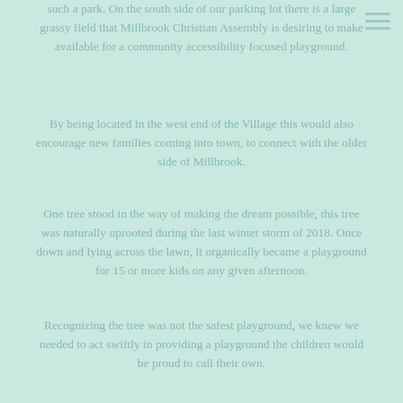such a park. On the south side of our parking lot there is a large grassy field that Millbrook Christian Assembly is desiring to make available for a community accessibility focused playground.
By being located in the west end of the Village this would also encourage new families coming into town, to connect with the older side of Millbrook.
One tree stood in the way of making the dream possible, this tree was naturally uprooted during the last winter storm of 2018. Once down and lying across the lawn, it organically became a playground for 15 or more kids on any given afternoon.
Recognizing the tree was not the safest playground, we knew we needed to act swiftly in providing a playground the children would be proud to call their own.